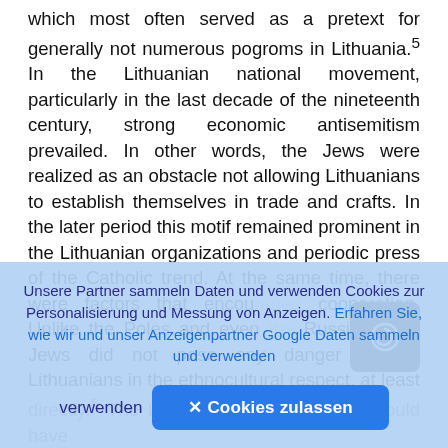which most often served as a pretext for generally not numerous pogroms in Lithuania.5 In the Lithuanian national movement, particularly in the last decade of the nineteenth century, strong economic antisemitism prevailed. In other words, the Jews were realized as an obstacle not allowing Lithuanians to establish themselves in trade and crafts. In the later period this motif remained prominent in the Lithuanian organizations and periodic press of the Catholic trend. At the same time, there were factors that encou cooperation. Unlike the Poles and even Russians, the Jews did not pose any danger to the Lithuanians in the ethnocultural respect, at least directly.6 The Lithuanians and the Jews could have
[Figure (other): Dark rounded square navigation/compass icon with circular arrow symbol]
Unsere Partner sammeln Daten und verwenden Cookies zur Personalisierung und Messung von Anzeigen. Erfahren Sie, wie wir und unser Anzeigenpartner Google Daten sammeln und verwenden × Cookies zulassen